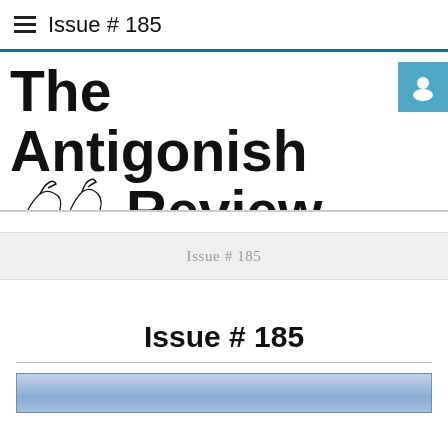Issue # 185
The Antigonish Review
Issue # 185
Issue # 185
[Figure (illustration): Partial view of an image at the bottom of the page with blue/grey tones, likely a cover image for Issue #185]